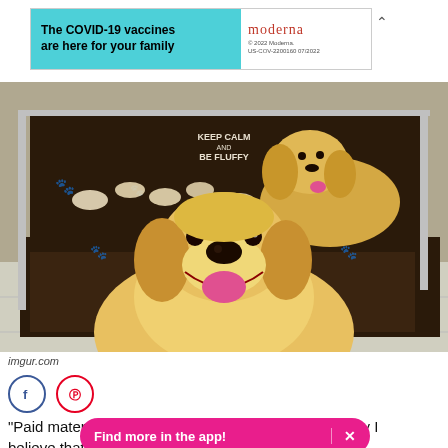[Figure (infographic): Moderna COVID-19 vaccine advertisement banner: teal/cyan left panel with bold text 'The COVID-19 vaccines are here for your family', white right panel with Moderna logo and fine print '© 2022 Moderna. US-COV-2200160 07/2022']
[Figure (photo): Photo of golden retrievers in a dark wooden whelping box decorated with paw print designs. A large golden retriever faces the camera in the foreground smiling with mouth open. Another golden retriever sits in back. Several newborn/young puppies are visible lying in the box. Text on back wall reads 'KEEP CALM AND BE FLUFFY'.]
imgur.com
[Figure (infographic): Social sharing icons: Facebook (blue circle with f) and Pinterest (red circle with P)]
[Figure (infographic): Pink app promotion banner overlay reading 'Find more in the app!' with an X close button]
"Paid maternity ultimately I believe that on balance, workers benefit from EU